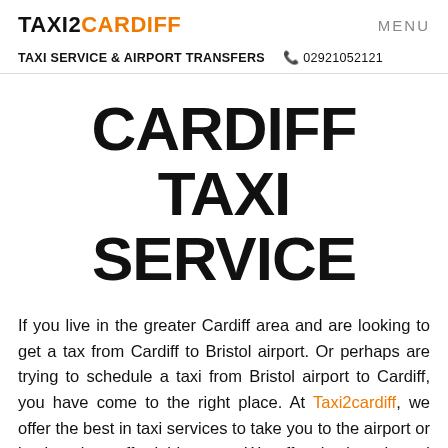TAXI2CARDIFF   MENU
TAXI SERVICE & AIRPORT TRANSFERS   02921052121
CARDIFF TAXI SERVICE
If you live in the greater Cardiff area and are looking to get a tax from Cardiff to Bristol airport. Or perhaps are trying to schedule a taxi from Bristol airport to Cardiff, you have come to the right place. At Taxi2cardiff, we offer the best in taxi services to take you to the airport or back at low, affordable rates. We offer the best in taxi and airport transfer services that get you to your destination in a safe